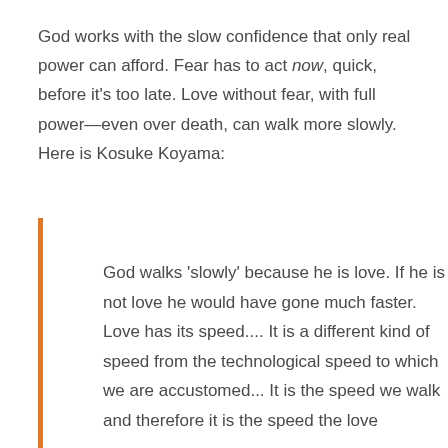God works with the slow confidence that only real power can afford. Fear has to act now, quick, before it's too late. Love without fear, with full power—even over death, can walk more slowly. Here is Kosuke Koyama:
God walks 'slowly' because he is love. If he is not love he would have gone much faster. Love has its speed.... It is a different kind of speed from the technological speed to which we are accustomed... It is the speed we walk and therefore it is the speed the love